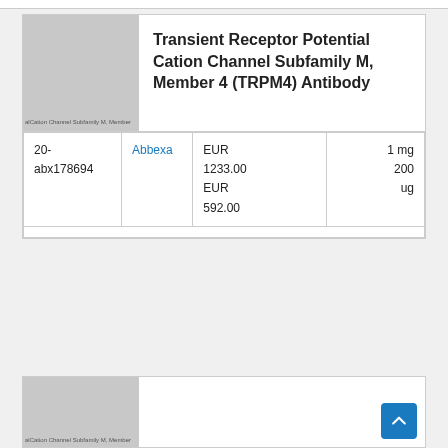[Figure (other): Product thumbnail image placeholder for antibody product, gray rectangle with small label text]
Transient Receptor Potential Cation Channel Subfamily M, Member 4 (TRPM4) Antibody
|  |  |  |  |
| --- | --- | --- | --- |
| 20-abx178694 | Abbexa | EUR 1233.00
EUR 592.00 | 1 mg
200 ug |
[Figure (other): Partial product thumbnail image placeholder at bottom of page, gray rectangle with small label text]